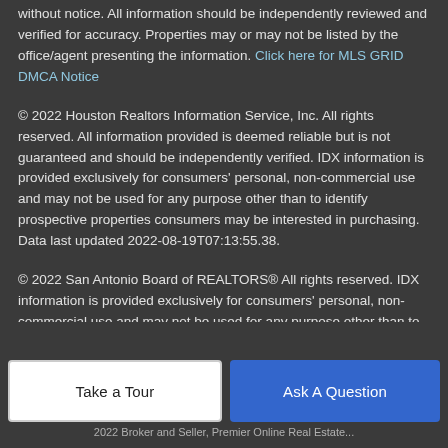without notice. All information should be independently reviewed and verified for accuracy. Properties may or may not be listed by the office/agent presenting the information. Click here for MLS GRID DMCA Notice
© 2022 Houston Realtors Information Service, Inc. All rights reserved. All information provided is deemed reliable but is not guaranteed and should be independently verified. IDX information is provided exclusively for consumers' personal, non-commercial use and may not be used for any purpose other than to identify prospective properties consumers may be interested in purchasing. Data last updated 2022-08-19T07:13:55.38.
© 2022 San Antonio Board of REALTORS® All rights reserved. IDX information is provided exclusively for consumers' personal, non-commercial use and may not be used for any purpose other than to identify prospective properties consumers may be interested in purchasing. Information is deemed reliable but is not guaranteed by the MLS San Antonio Board of REALTORS® but...
Take a Tour
Ask A Question
2022 Broker and Seller, Premier Online Real Estate...